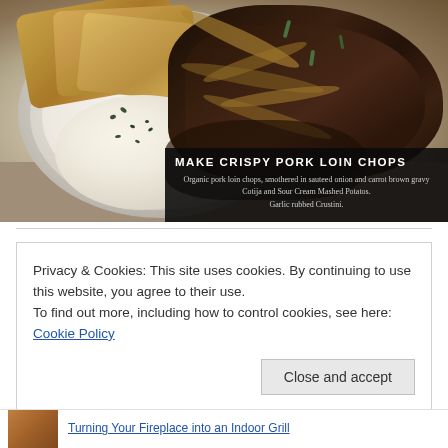[Figure (photo): Photo of a plate with crispy pork loin chops smothered in sauteed onion and carrot brown gravy, with Cotija and Sour Cream Mashed Potatoes and Garlic rubbed Crustini. The plate is white with circular ridges on a granite countertop. Dark overlay box in the bottom-right corner shows the dish title and description.]
Privacy & Cookies: This site uses cookies. By continuing to use this website, you agree to their use.
To find out more, including how to control cookies, see here: Cookie Policy
Close and accept
Turning Your Fireplace into an Indoor Grill